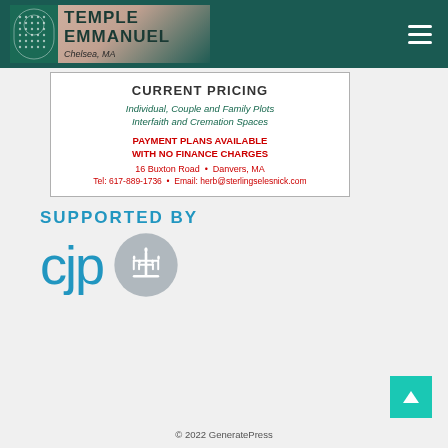Temple Emmanuel Chelsea, MA
[Figure (infographic): Advertisement box: CURRENT PRICING - Individual, Couple and Family Plots, Interfaith and Cremation Spaces, PAYMENT PLANS AVAILABLE WITH NO FINANCE CHARGES, 16 Buxton Road • Danvers, MA, Tel: 617-889-1736 • Email: herb@sterlingselesnick.com]
[Figure (logo): Supported by CJP (Combined Jewish Philanthropies) logo with menorah symbol in grey circle]
© 2022 GeneratePress